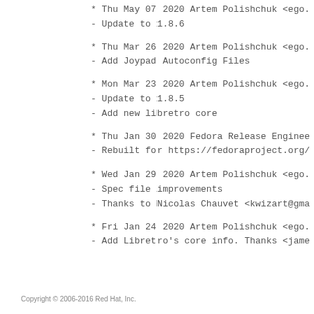* Thu May 07 2020 Artem Polishchuk <ego.
- Update to 1.8.6
* Thu Mar 26 2020 Artem Polishchuk <ego.
- Add Joypad Autoconfig Files
* Mon Mar 23 2020 Artem Polishchuk <ego.
- Update to 1.8.5
- Add new libretro core
* Thu Jan 30 2020 Fedora Release Enginee
- Rebuilt for https://fedoraproject.org/
* Wed Jan 29 2020 Artem Polishchuk <ego.
- Spec file improvements
- Thanks to Nicolas Chauvet <kwizart@gma
* Fri Jan 24 2020 Artem Polishchuk <ego.
- Add Libretro's core info. Thanks <jame
Copyright © 2006-2016 Red Hat, Inc.